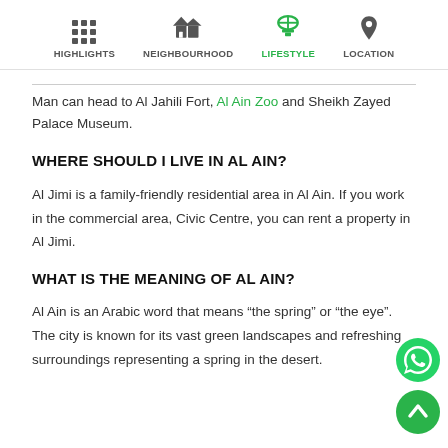HIGHLIGHTS | NEIGHBOURHOOD | LIFESTYLE | LOCATION
Man can head to Al Jahili Fort, Al Ain Zoo and Sheikh Zayed Palace Museum.
WHERE SHOULD I LIVE IN AL AIN?
Al Jimi is a family-friendly residential area in Al Ain. If you work in the commercial area, Civic Centre, you can rent a property in Al Jimi.
WHAT IS THE MEANING OF AL AIN?
Al Ain is an Arabic word that means “the spring” or “the eye”. The city is known for its vast green landscapes and refreshing surroundings representing a spring in the desert.